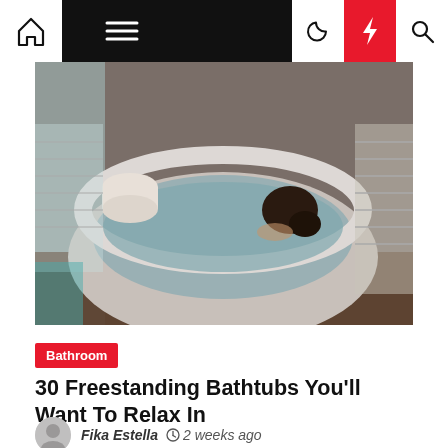Navigation bar with home, menu, moon, lightning, and search icons
[Figure (photo): Woman relaxing in a large freestanding round bathtub, viewed from behind, with wooden platform and window blinds in background]
Bathroom
30 Freestanding Bathtubs You'll Want To Relax In
Fika Estella  2 weeks ago